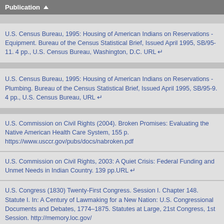Publication ▲
U.S. Census Bureau, 1995: Housing of American Indians on Reservations - Equipment. Bureau of the Census Statistical Brief, Issued April 1995, SB/95-11. 4 pp., U.S. Census Bureau, Washington, D.C. URL ↵
U.S. Census Bureau, 1995: Housing of American Indians on Reservations - Plumbing. Bureau of the Census Statistical Brief, Issued April 1995, SB/95-9. 4 pp., U.S. Census Bureau, URL ↵
U.S. Commission on Civil Rights (2004). Broken Promises: Evaluating the Native American Health Care System, 155 p. https://www.usccr.gov/pubs/docs/nabroken.pdf
U.S. Commission on Civil Rights, 2003: A Quiet Crisis: Federal Funding and Unmet Needs in Indian Country. 139 pp.URL ↵
U.S. Congress (1830) Twenty-First Congress. Session I. Chapter 148. Statute I. In: A Century of Lawmaking for a New Nation: U.S. Congressional Documents and Debates, 1774–1875. Statutes at Large, 21st Congress, 1st Session. http://memory.loc.gov/